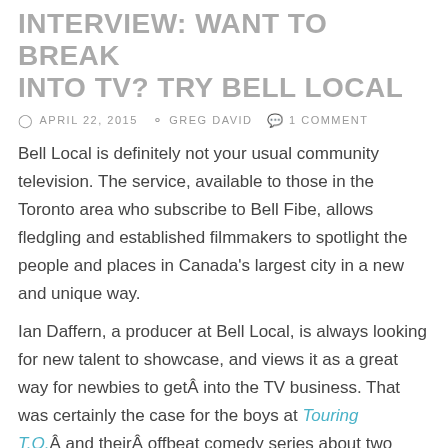INTERVIEW: WANT TO BREAK INTO TV? TRY BELL LOCAL
APRIL 22, 2015   GREG DAVID   1 COMMENT
Bell Local is definitely not your usual community television. The service, available to those in the Toronto area who subscribe to Bell Fibe, allows fledgling and established filmmakers to spotlight the people and places in Canada's largest city in a new and unique way.
Ian Daffern, a producer at Bell Local, is always looking for new talent to showcase, and views it as a great way for newbies to getÂ into the TV business. That was certainly the case for the boys at Touring T.O.Â and theirÂ offbeat comedy series about two guys pulling tourists betweenÂ strange Toronto landmarks.